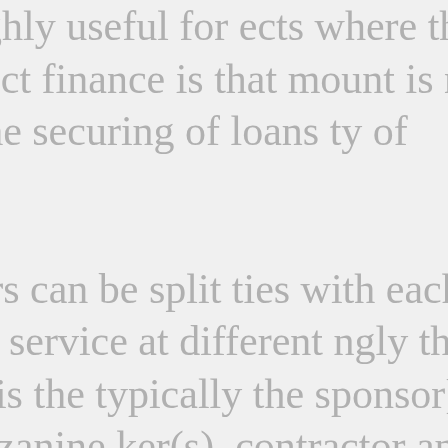es, it is highly useful for ects where the main project finance is that mount is not invested the securing of loans ty of sponsors. nd sponsors can be split ties with each party ncial service at different ngly the first party is the typically the sponsor], uding mezzanine ker(s), contractor and plier, operator, financial cal advisory, legal investor, regulatory redit agencies, ders and hedge ermore, documentation segmented into ject, finance, security, ther documentation